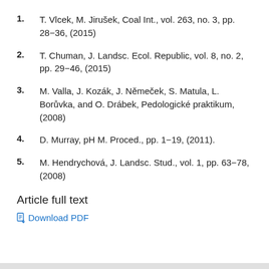1. T. Vlcek, M. Jirušek, Coal Int., vol. 263, no. 3, pp. 28−36, (2015)
2. T. Chuman, J. Landsc. Ecol. Republic, vol. 8, no. 2, pp. 29−46, (2015)
3. M. Valla, J. Kozák, J. Němeček, S. Matula, L. Borůvka, and O. Drábek, Pedologické praktikum, (2008)
4. D. Murray, pH M. Proced., pp. 1−19, (2011).
5. M. Hendrychová, J. Landsc. Stud., vol. 1, pp. 63−78, (2008)
Article full text
Download PDF